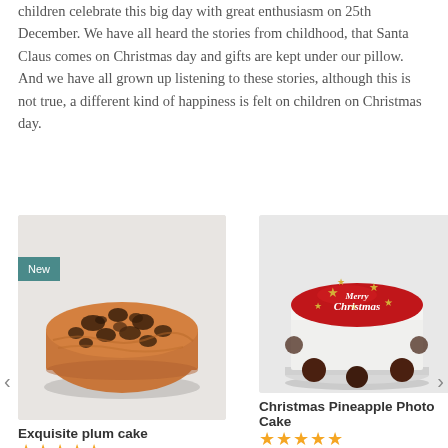children celebrate this big day with great enthusiasm on 25th December. We have all heard the stories from childhood, that Santa Claus comes on Christmas day and gifts are kept under our pillow. And we have all grown up listening to these stories, although this is not true, a different kind of happiness is felt on children on Christmas day.
[Figure (photo): Exquisite plum cake with a 'New' badge in teal, showing a round dark chocolate chip cake on a light background]
[Figure (photo): Christmas Pineapple Photo Cake with red top decorated with 'Merry Christmas' text and gold stars, white sides with dark chocolate polka dots]
Exquisite plum cake
★★★★★
Get it Today
Christmas Pineapple Photo Cake
★★★★★
Get it Today
Delivery Across India